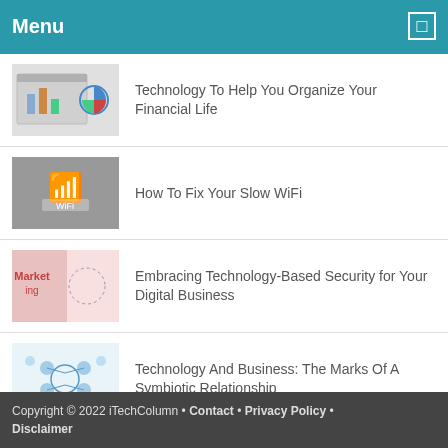Menu
Technology To Help You Organize Your Financial Life
How To Fix Your Slow WiFi
Embracing Technology-Based Security for Your Digital Business
Technology And Business: The Marks Of A Symbiotic Relationship
Snov.io Review: Best Fast & Accurate Email Finder and Email verifying tool
Copyright © 2022 iTechColumn • Contact • Privacy Policy • Disclaimer